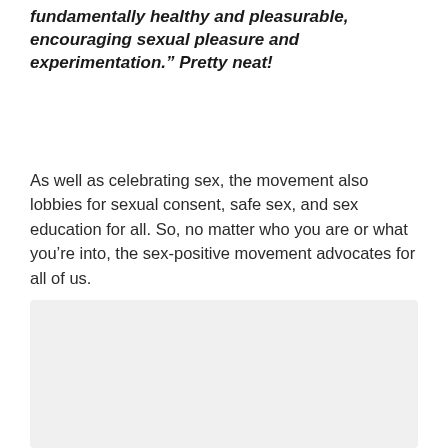fundamentally healthy and pleasurable, encouraging sexual pleasure and experimentation." Pretty neat!
As well as celebrating sex, the movement also lobbies for sexual consent, safe sex, and sex education for all. So, no matter who you are or what you’re into, the sex-positive movement advocates for all of us.
[Figure (photo): A light gray rectangular image placeholder occupying the lower portion of the page.]